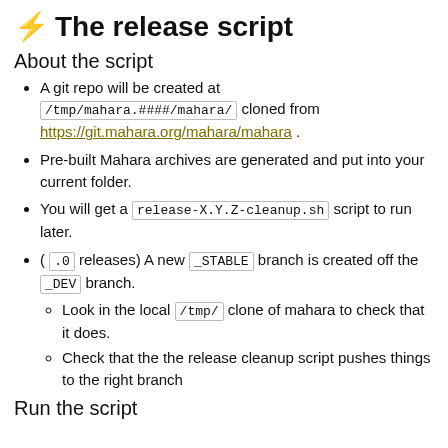⚡ The release script
About the script
A git repo will be created at /tmp/mahara.####/mahara/ cloned from https://git.mahara.org/mahara/mahara .
Pre-built Mahara archives are generated and put into your current folder.
You will get a release-X.Y.Z-cleanup.sh script to run later.
( .0 releases) A new _STABLE branch is created off the _DEV branch.
Look in the local /tmp/ clone of mahara to check that it does.
Check that the the release cleanup script pushes things to the right branch
Run the script